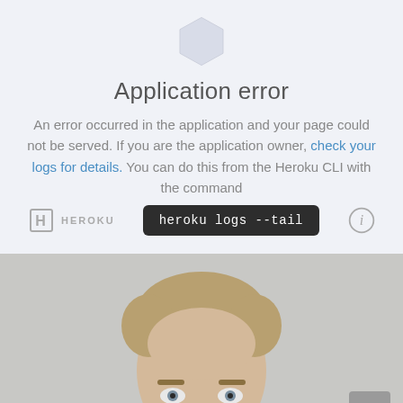[Figure (illustration): Heroku hexagon logo icon in light gray/blue at top center]
Application error
An error occurred in the application and your page could not be served. If you are the application owner, check your logs for details. You can do this from the Heroku CLI with the command
[Figure (screenshot): Heroku logo on left, command box showing 'heroku logs --tail' in center, info icon on right]
[Figure (photo): Photo of a blonde man's head and upper face against a light gray background. A gray scroll-to-top button is in the bottom right corner.]